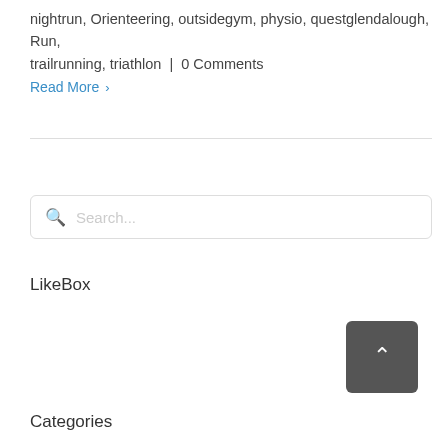nightrun, Orienteering, outsidegym, physio, questglendalough, Run, trailrunning, triathlon  |  0 Comments
Read More ›
Search...
LikeBox
Categories